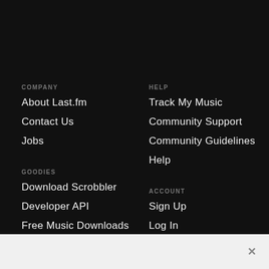COMPANY
About Last.fm
Contact Us
Jobs
HELP
Track My Music
Community Support
Community Guidelines
Help
GOODIES
Download Scrobbler
Developer API
Free Music Downloads
Merchandise
ACCOUNT
Sign Up
Log In
Subscribe
FOLLOW US
Facebook
Twitter